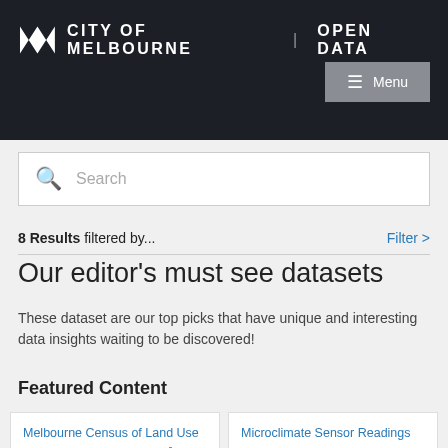City of Melbourne | Open Data
Search
8 Results filtered by... Filter >
Our editor's must see datasets
These dataset are our top picks that have unique and interesting data insights waiting to be discovered!
Featured Content
Melbourne Census of Land Use and Employment (CLUE)
Microclimate Sensor Readings